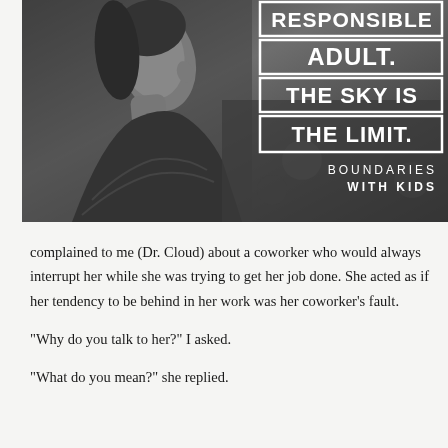[Figure (photo): Black and white photo of a young woman looking upward, with overlaid bold text reading 'RESPONSIBLE ADULT. THE SKY IS THE LIMIT.' and subtitle 'BOUNDARIES WITH KIDS']
complained to me (Dr. Cloud) about a coworker who would always interrupt her while she was trying to get her job done. She acted as if her tendency to be behind in her work was her coworker's fault.
"Why do you talk to her?" I asked.
"What do you mean?" she replied.